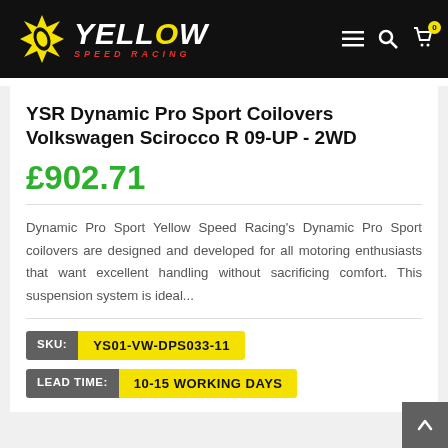Yellow Speed Racing
YSR Dynamic Pro Sport Coilovers Volkswagen Scirocco R 09-UP - 2WD
£902.71
Dynamic Pro Sport Yellow Speed Racing's Dynamic Pro Sport coilovers are designed and developed for all motoring enthusiasts that want excellent handling without sacrificing comfort. This suspension system is ideal...
SKU: YS01-VW-DPS033-11
LEAD TIME: 10-15 WORKING DAYS